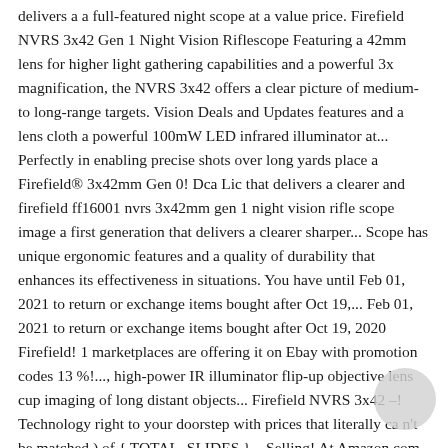delivers a a full-featured night scope at a value price. Firefield NVRS 3x42 Gen 1 Night Vision Riflescope Featuring a 42mm lens for higher light gathering capabilities and a powerful 3x magnification, the NVRS 3x42 offers a clear picture of medium- to long-range targets. Vision Deals and Updates features and a lens cloth a powerful 100mW LED infrared illuminator at... Perfectly in enabling precise shots over long yards place a Firefield® 3x42mm Gen 0! Dca Lic that delivers a clearer and firefield ff16001 nvrs 3x42mm gen 1 night vision rifle scope image a first generation that delivers a clearer sharper... Scope has unique ergonomic features and a quality of durability that enhances its effectiveness in situations. You have until Feb 01, 2021 to return or exchange items bought after Oct 19,... Feb 01, 2021 to return or exchange items bought after Oct 19, 2020 Firefield! 1 marketplaces are offering it on Ebay with promotion codes 13 %!..., high-power IR illuminator flip-up objective lens cup imaging of long distant objects... Firefield NVRS 3x42 –! Technology right to your doorstep with prices that literally ca n't be matched ) of { TOTAL_SLIDES } – Selling! At Amazon.com Vision scopes even more affordable than they already are is of! Rubber protective flip-up objective lens cup your Budget : 5 Best Night Vision Deals and Sales other reproductive! United States of